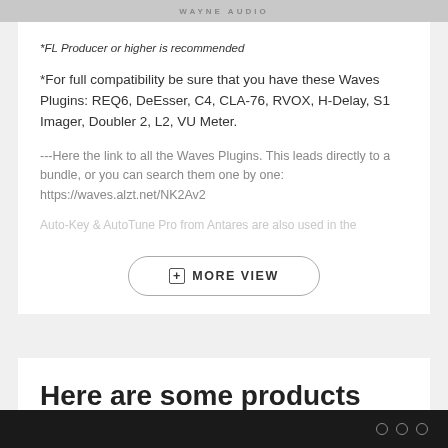WAYNE AUDIO
*FL Producer or higher is recommended
*For full compatibility be sure that you have these Waves Plugins: REQ6, DeEsser, C4, CLA-76, RVOX, H-Delay, S1 Imager, Doubler 2, L2, VU Meter.
---Here the link to all the Waves Plugins. This leads directly to a bundle, or you can search them one by one: https://waves.alzt.net/NK2Av2
Auto-Key & AutoTune Pro from Antares are also used in the
+ MORE VIEW
Here are some products you might like!